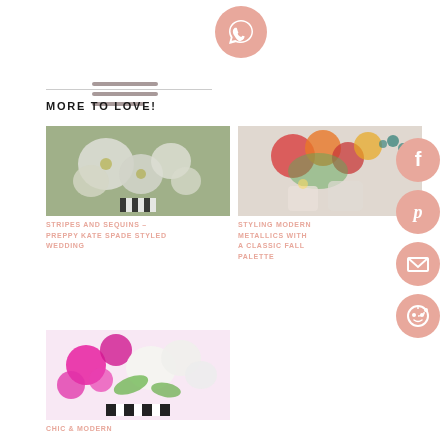[Figure (illustration): Pink circular WhatsApp chat button icon at top center]
[Figure (illustration): Three horizontal lines hamburger menu icon, gray, top left]
MORE TO LOVE!
[Figure (photo): White floral bouquet with striped vase on sparkly background]
STRIPES AND SEQUINS – PREPPY KATE SPADE STYLED WEDDING
[Figure (photo): Colorful autumn floral arrangement with red, orange blooms]
STYLING MODERN METALLICS WITH A CLASSIC FALL PALETTE
[Figure (photo): Bright pink and white floral arrangement with striped ribbon]
CHIC & MODERN
[Figure (illustration): Pink circular Facebook icon, right side]
[Figure (illustration): Pink circular Pinterest icon, right side]
[Figure (illustration): Pink circular Email/envelope icon, right side]
[Figure (illustration): Pink circular Reddit icon, right side]